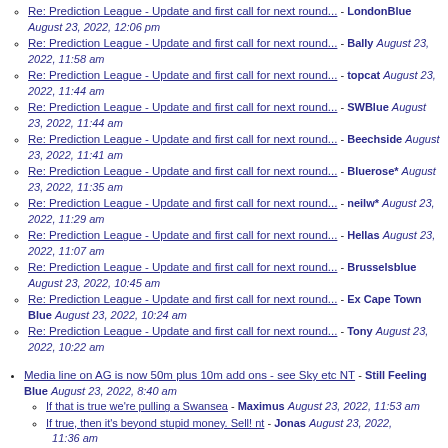Re: Prediction League - Update and first call for next round... - LondonBlue August 23, 2022, 12:06 pm
Re: Prediction League - Update and first call for next round... - Bally August 23, 2022, 11:58 am
Re: Prediction League - Update and first call for next round... - topcat August 23, 2022, 11:44 am
Re: Prediction League - Update and first call for next round... - SWBlue August 23, 2022, 11:44 am
Re: Prediction League - Update and first call for next round... - Beechside August 23, 2022, 11:41 am
Re: Prediction League - Update and first call for next round... - Bluerose* August 23, 2022, 11:35 am
Re: Prediction League - Update and first call for next round... - neilw* August 23, 2022, 11:29 am
Re: Prediction League - Update and first call for next round... - Hellas August 23, 2022, 11:07 am
Re: Prediction League - Update and first call for next round... - Brusselsblue August 23, 2022, 10:45 am
Re: Prediction League - Update and first call for next round... - Ex Cape Town Blue August 23, 2022, 10:24 am
Re: Prediction League - Update and first call for next round... - Tony August 23, 2022, 10:22 am
Media line on AG is now 50m plus 10m add ons - see Sky etc NT - Still Feeling Blue August 23, 2022, 8:40 am
If that is true we're pulling a Swansea - Maximus August 23, 2022, 11:53 am
If true, then it's beyond stupid money. Sell! nt - Jonas August 23, 2022, 11:36 am